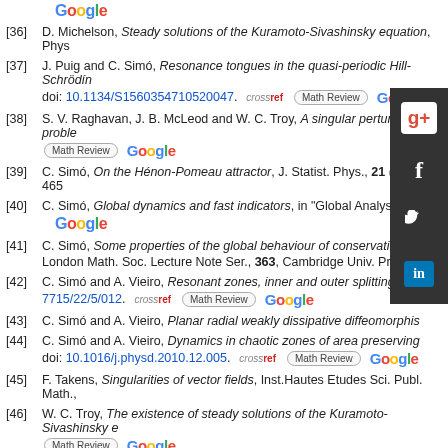[Figure (logo): Google logo at top]
[36] D. Michelson, Steady solutions of the Kuramoto-Sivashinsky equation, Phys
[37] J. Puig and C. Simó, Resonance tongues in the quasi-periodic Hill-Schrödinger... doi: 10.1134/S1560354710520047.
[38] S. V. Raghavan, J. B. McLeod and W. C. Troy, A singular perturbation proble...
[39] C. Simó, On the Hénon-Pomeau attractor, J. Statist. Phys., 21 (1979), 465
[40] C. Simó, Global dynamics and fast indicators, in "Global Analysis of...
[Figure (logo): Google logo inline]
[41] C. Simó, Some properties of the global behaviour of conservative lo... London Math. Soc. Lecture Note Ser., 363, Cambridge Univ. Press,
[42] C. Simó and A. Vieiro, Resonant zones, inner and outer splittings in... 7715/22/5/012.
[43] C. Simó and A. Vieiro, Planar radial weakly dissipative diffeomorphis...
[44] C. Simó and A. Vieiro, Dynamics in chaotic zones of area preserving... doi: 10.1016/j.physd.2010.12.005.
[45] F. Takens, Singularities of vector fields, Inst.Hautes Etudes Sci. Publ. Math.,
[46] W. C. Troy, The existence of steady solutions of the Kuramoto-Sivashinsky e...